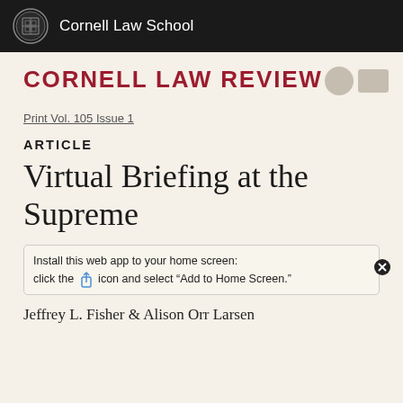Cornell Law School
Cornell Law Review
Print Vol. 105 Issue 1
ARTICLE
Virtual Briefing at the Supreme
Install this web app to your home screen: click the [share] icon and select “Add to Home Screen.”
Jeffrey L. Fisher & Alison Orr Larsen